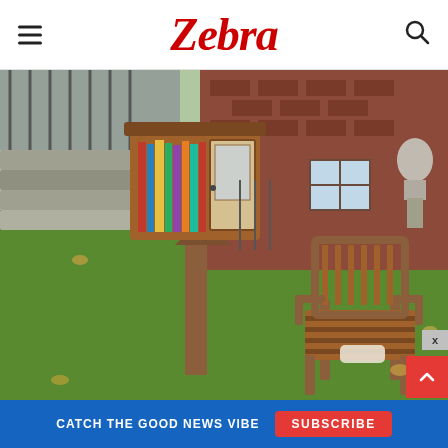Zebra
[Figure (photo): Outdoor photo showing a free little library — a small wooden cabinet mounted on a post, filled with books, with a wooden chair beside it on a grass lawn. A brick building, stone steps, and a bust sculpture are visible in the background.]
CATCH THE GOOD NEWS VIBE  SUBSCRIBE